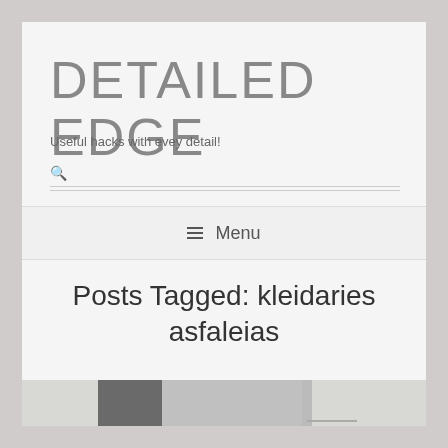DETAILED EDGE
Useful hacks with evey detail!
Menu
Posts Tagged: kleidaries asfaleias
[Figure (photo): Photo of a door with gray panels against a light wall]